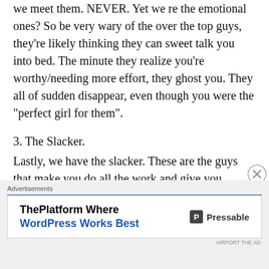we meet them. NEVER. Yet we re the emotional ones? So be very wary of the over the top guys, they're likely thinking they can sweet talk you into bed. The minute they realize you're worthy/needing more effort, they ghost you. They all of sudden disappear, even though you were the "perfect girl for them".
3. The Slacker.
Lastly, we have the slacker. These are the guys that make you do all the work and give you nothing major in return. These are the serial Netflix and chillers, the "come have a drink at the crib" guys. These are the ones that say "Oh you're so far away" when you tell them you live 25 minutes away. They ask you to meet
[Figure (other): Advertisement banner: ThePlatform Where WordPress Works Best - Pressable]